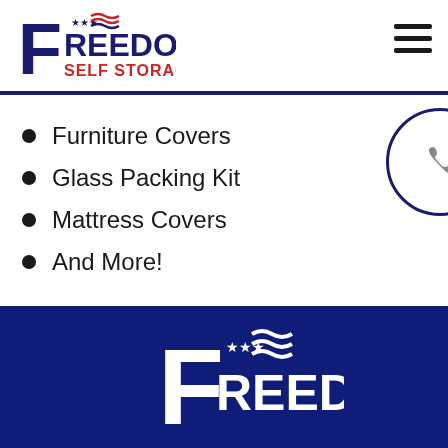[Figure (logo): Freedom Self Storage logo with large F and American flag motif, text FREEDOM SELF STORAGE in navy and red]
Furniture Covers
Glass Packing Kit
Mattress Covers
And More!
[Figure (logo): Freedom Self Storage white logo on dark navy footer background]